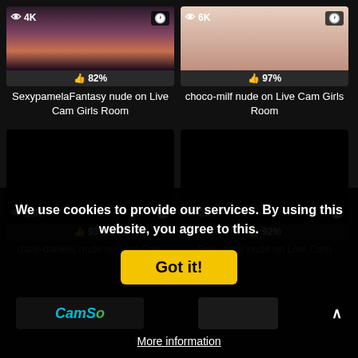[Figure (screenshot): Thumbnail for SexypamelaFantasy nude on Live Cam Girls Room - shows 4K badge, 82% likes, eye icon with views]
SexypamelaFantasy nude on Live Cam Girls Room
[Figure (screenshot): Thumbnail for choco-milf nude on Live Cam Girls Room - shows 6K badge, 97% likes]
choco-milf nude on Live Cam Girls Room
[Figure (screenshot): Black thumbnail for danii-daniels nude on Live Cam - shows 13K views, 93% likes]
danii-daniels nude on Live Cam
[Figure (screenshot): Black thumbnail for Solo-sens nude on Live Cam - shows 2K views, 92% likes]
Solo-sens nude on Live Cam
We use cookies to provide our services. By using this website, you agree to this.
Got it!
More information